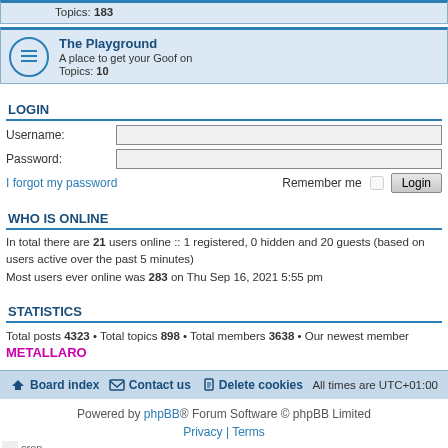Topics: 183
The Playground
A place to get your Goof on
Topics: 10
LOGIN
Username:
Password:
I forgot my password
Remember me
WHO IS ONLINE
In total there are 21 users online :: 1 registered, 0 hidden and 20 guests (based on users active over the past 5 minutes)
Most users ever online was 283 on Thu Sep 16, 2021 5:55 pm
STATISTICS
Total posts 4323 • Total topics 898 • Total members 3638 • Our newest member METALLARO
Board index  Contact us  Delete cookies  All times are UTC+01:00
Powered by phpBB® Forum Software © phpBB Limited
Privacy | Terms
cron